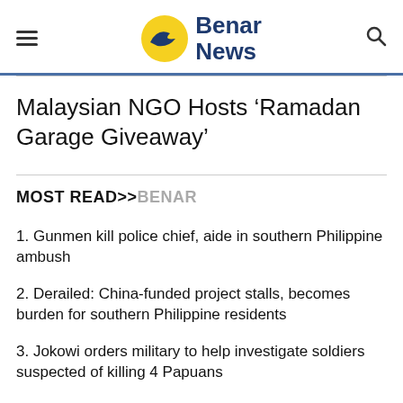Benar News
Malaysian NGO Hosts ‘Ramadan Garage Giveaway’
MOST READ>>BENAR
1. Gunmen kill police chief, aide in southern Philippine ambush
2. Derailed: China-funded project stalls, becomes burden for southern Philippine residents
3. Jokowi orders military to help investigate soldiers suspected of killing 4 Papuans
4. Art seized from Marcoses on display at Philippine museum